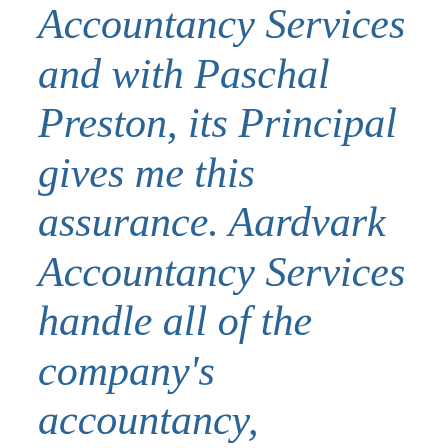Accountancy Services and with Paschal Preston, its Principal gives me this assurance. Aardvark Accountancy Services handle all of the company's accountancy, taxation, bookkeeping, payroll and Company's Office return